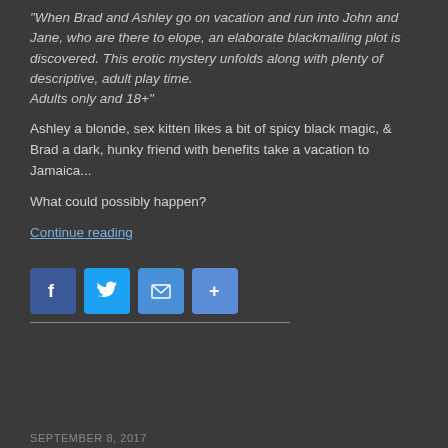“When Brad and Ashley go on vacation and run into John and Jane, who are there to elope, an elaborate blackmailing plot is discovered. This erotic mystery unfolds along with plenty of descriptive, adult play time.
Adults only and 18+”
Ashley a blonde, sex kitten likes a bit of spicy black magic, & Brad a dark, hunky friend with benefits take a vacation to Jamaica...
What could possibly happen?
Continue reading
[Figure (other): Social media share buttons: Facebook, Twitter, Email, Share (plus icon)]
SEPTEMBER 8, 2017